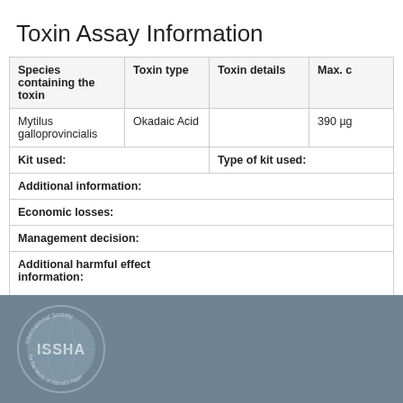Toxin Assay Information
| Species containing the toxin | Toxin type | Toxin details | Max. c |
| --- | --- | --- | --- |
| Mytilus galloprovincialis | Okadaic Acid |  | 390 µg |
| Kit used: |  | Type of kit used: |  |
| Additional information: |  |  |  |
| Economic losses: |  |  |  |
| Management decision: |  |  |  |
| Additional harmful effect information: |  |  |  |
[Figure (logo): ISSHA International Society for the Study of Harmful Algae circular logo in grey]